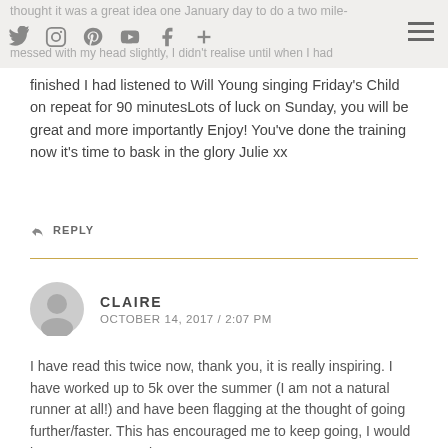thought it was a great idea one January day to do a two mile; I thought, just nine times, messed with my head slightly, I didn't realise until when I had
finished I had listened to Will Young singing Friday's Child on repeat for 90 minutesLots of luck on Sunday, you will be great and more importantly Enjoy! You've done the training now it's time to bask in the glory Julie xx
REPLY
CLAIRE
OCTOBER 14, 2017 / 2:07 PM
I have read this twice now, thank you, it is really inspiring. I have worked up to 5k over the summer (I am not a natural runner at all!) and have been flagging at the thought of going further/faster. This has encouraged me to keep going, I would love to get up to 10k!
REPLY